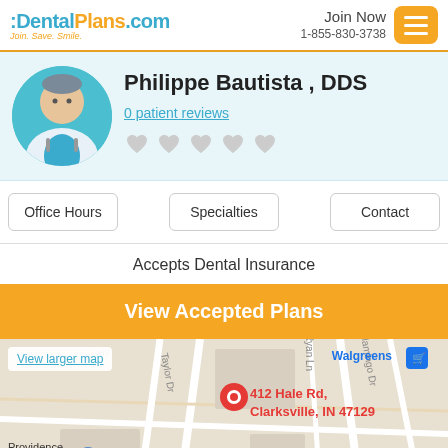DentalPlans.com — Join. Save. Smile. | Join Now 1-855-830-3738
Philippe Bautista , DDS
0 patient reviews
Office Hours | Specialties | Contact
Accepts Dental Insurance
View Accepted Plans
[Figure (map): Google Maps showing location at 412 Hale Rd, Clarksville, IN 47129 with surrounding streets including Taylor Dr, Victor, Ryan Ln, E Flamingo Dr and nearby locations Walgreens and Providence School]
View larger map
412 Hale Rd, Clarksville, IN 47129